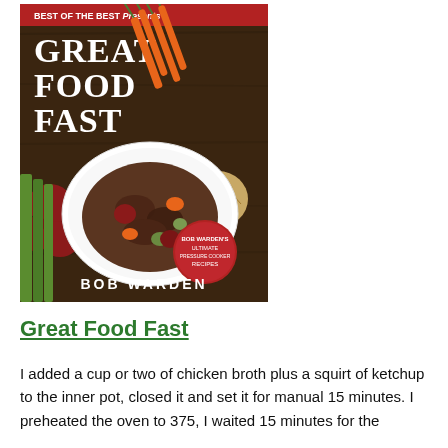[Figure (photo): Book cover of 'Great Food Fast' by Bob Warden. Red banner at top reads 'Best of the Best Presents'. Large white text reads 'GREAT FOOD FAST'. Background is a dark wood surface with vegetables including carrots, celery, red potatoes, and an onion. A white oval plate contains a braised meat and vegetable dish. A red circular badge reads 'Bob Warden's Ultimate Pressure Cooker Recipes'. Author name 'BOB WARDEN' at bottom.]
Great Food Fast
I added a cup or two of chicken broth plus a squirt of ketchup to the inner pot, closed it and set it for manual 15 minutes. I preheated the oven to 375, I waited 15 minutes for the